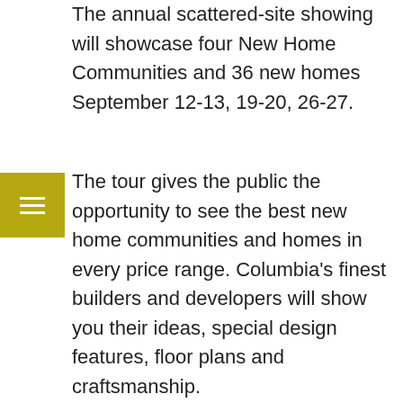The annual scattered-site showing will showcase four New Home Communities and 36 new homes September 12-13, 19-20, 26-27.
The tour gives the public the opportunity to see the best new home communities and homes in every price range. Columbia's finest builders and developers will show you their ideas, special design features, floor plans and craftsmanship.
Recommended social distancing procedures and precautions are encouraged of all participants.
The first home on the Tour is the Showcase Home by Great Southern Homes located in Livingston Place, a new community near Irmo / Ballentine and Lake Murray. The Porter plan is located at 519